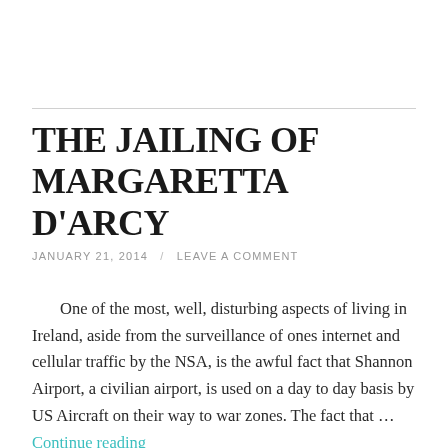THE JAILING OF MARGARETTA D'ARCY
JANUARY 21, 2014 / LEAVE A COMMENT
One of the most, well, disturbing aspects of living in Ireland, aside from the surveillance of ones internet and cellular traffic by the NSA, is the awful fact that Shannon Airport, a civilian airport, is used on a day to day basis by US Aircraft on their way to war zones. The fact that … Continue reading